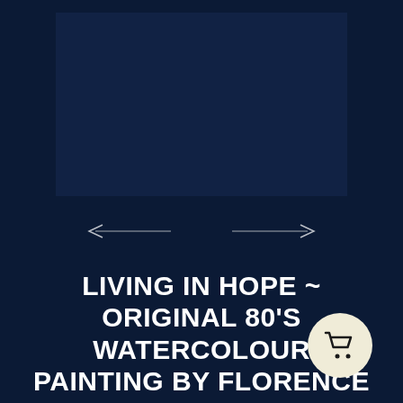[Figure (illustration): Dark navy blue rectangular image placeholder area for artwork preview]
[Figure (other): Navigation arrows: left arrow with line on the left, right arrow with line on the right, for image carousel navigation]
LIVING IN HOPE ~ ORIGINAL 80'S WATERCOLOUR PAINTING BY FLORENCE
[Figure (other): Circular shopping cart button with cream/beige background and dark cart icon]